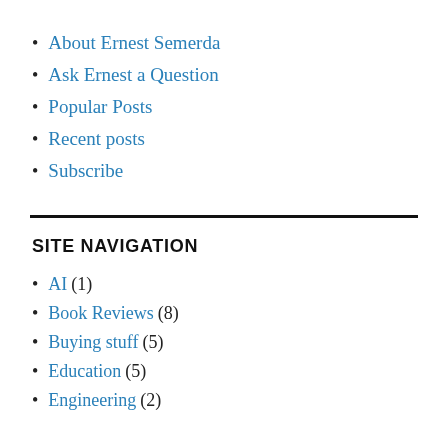About Ernest Semerda
Ask Ernest a Question
Popular Posts
Recent posts
Subscribe
SITE NAVIGATION
AI (1)
Book Reviews (8)
Buying stuff (5)
Education (5)
Engineering (2)